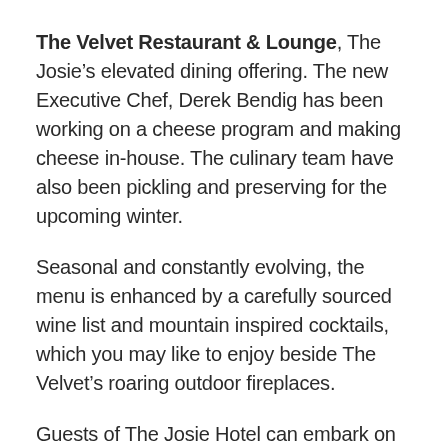The Velvet Restaurant & Lounge, The Josie's elevated dining offering. The new Executive Chef, Derek Bendig has been working on a cheese program and making cheese in-house. The culinary team have also been pickling and preserving for the upcoming winter.
Seasonal and constantly evolving, the menu is enhanced by a carefully sourced wine list and mountain inspired cocktails, which you may like to enjoy beside The Velvet's roaring outdoor fireplaces.
Guests of The Josie Hotel can embark on a world of 4-season adventure with access to skiing and snowboarding, cat skiing and snowboarding, snowshoeing, mountain biking, trail running and more.